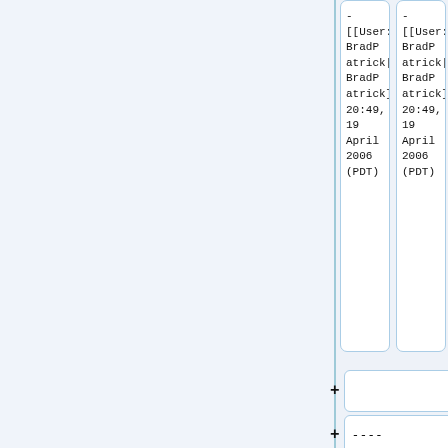- [[User:BradPatrick|BradPatrick]] 20:49, 19 April 2006 (PDT)
- [[User:BradPatrick|BradPatrick]] 20:49, 19 April 2006 (PDT)
+ [empty box]
+ ----
+ [empty box]
The point of Brad is certainly true in our case at the [[http://www.adempiere.org/ ADempiere